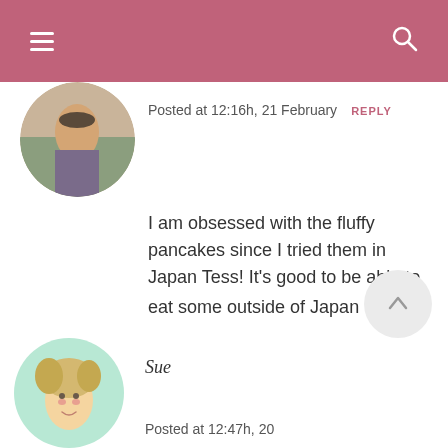≡  🔍
[Figure (photo): Circular avatar photo of a person sitting outdoors]
Posted at 12:16h, 21 February  REPLY
I am obsessed with the fluffy pancakes since I tried them in Japan Tess! It's good to be able to eat some outside of Japan 🙂
[Figure (illustration): Circular avatar illustration of a blonde person (Sue)]
Sue
Posted at 12:47h, 20